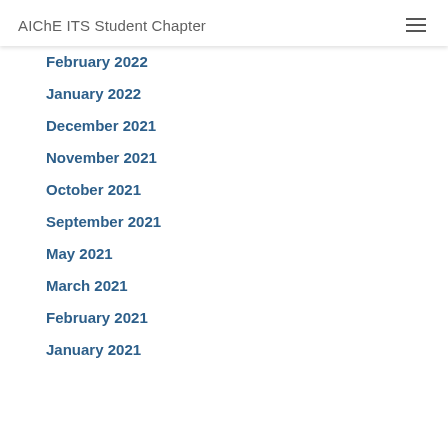AIChE ITS Student Chapter
February 2022
January 2022
December 2021
November 2021
October 2021
September 2021
May 2021
March 2021
February 2021
January 2021